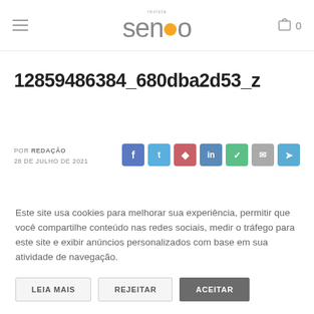revista senso
12859486384_680dba2d53_z
POR REDAÇÃO
28 DE JULHO DE 2021
Este site usa cookies para melhorar sua experiência, permitir que você compartilhe conteúdo nas redes sociais, medir o tráfego para este site e exibir anúncios personalizados com base em sua atividade de navegação.